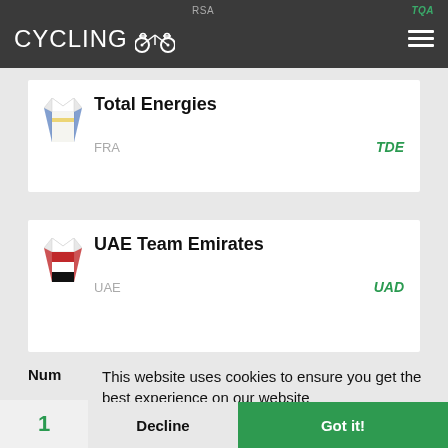CYCLINGOO RSA TQA
Total Energies FRA TDE
UAE Team Emirates UAE UAD
Num
1
This website uses cookies to ensure you get the best experience on our website
More info
Decline
Got it!